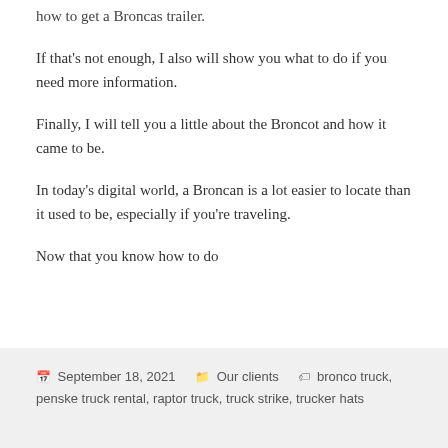how to get a Broncas trailer.
If that's not enough, I also will show you what to do if you need more information.
Finally, I will tell you a little about the Broncot and how it came to be.
In today's digital world, a Broncan is a lot easier to locate than it used to be, especially if you're traveling.
Now that you know how to do
September 18, 2021   Our clients   bronco truck, penske truck rental, raptor truck, truck strike, trucker hats